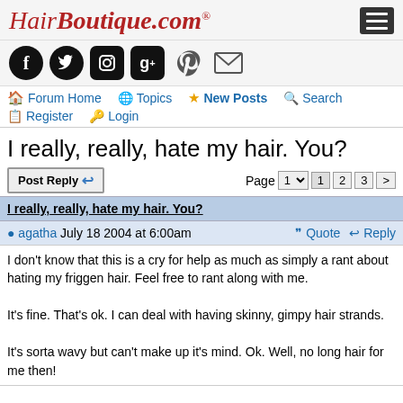HairBoutique.com
[Figure (screenshot): Social media icons row: Facebook, Twitter, Instagram, Google+, Pinterest, Email]
Forum Home | Topics | New Posts | Search | Register | Login
I really, really, hate my hair. You?
Post Reply | Page 1 2 3 >
I really, really, hate my hair. You?
agatha July 18 2004 at 6:00am | Quote | Reply
I don't know that this is a cry for help as much as simply a rant about hating my friggen hair. Feel free to rant along with me.

It's fine. That's ok. I can deal with having skinny, gimpy hair strands.

It's sorta wavy but can't make up it's mind. Ok. Well, no long hair for me then!